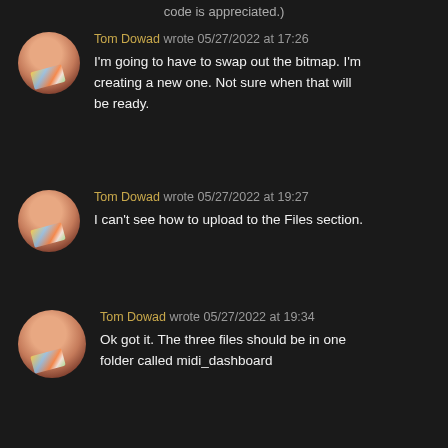code is appreciated.),
Tom Dowad wrote 05/27/2022 at 17:26
I'm going to have to swap out the bitmap. I'm creating a new one. Not sure when that will be ready.
Tom Dowad wrote 05/27/2022 at 19:27
I can't see how to upload to the Files section.
Tom Dowad wrote 05/27/2022 at 19:34
Ok got it. The three files should be in one folder called midi_dashboard